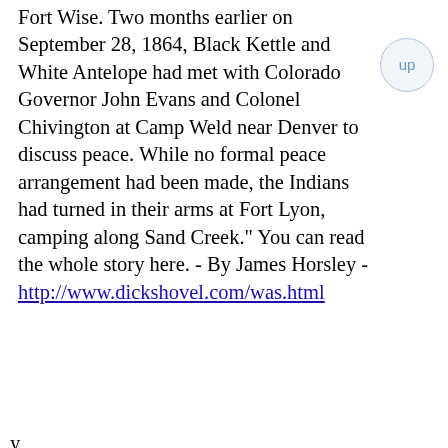Fort Wise. Two months earlier on September 28, 1864, Black Kettle and White Antelope had met with Colorado Governor John Evans and Colonel Chivington at Camp Weld near Denver to discuss peace. While no formal peace arrangement had been made, the Indians had turned in their arms at Fort Lyon, camping along Sand Creek." You can read the whole story here. - By James Horsley - http://www.dickshovel.com/was.html
My Experience with the Cheyenne Indians ___"Address by Henry C. Keeling, of Caldwell, Kansas, before the thirty fourth annual meeting of the Kansas State Historical Society,
[partial line cut off at bottom]